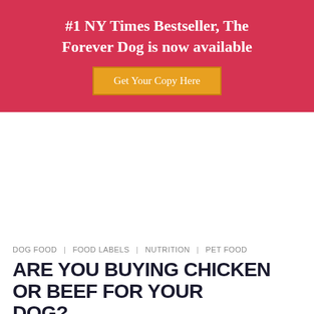#1 NY Times Bestseller, The Forever Dog is now available — Get Your Copy Here
DOG FOOD | FOOD LABELS | NUTRITION | PET FOOD
ARE YOU BUYING CHICKEN OR BEEF FOR YOUR DOG?